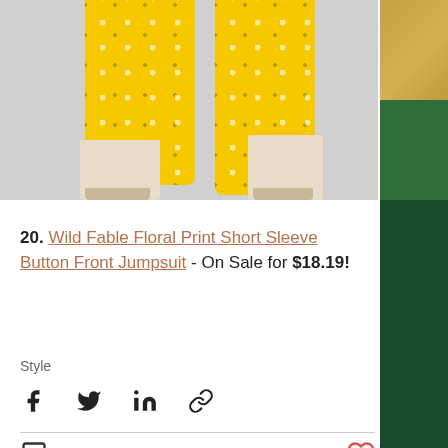[Figure (photo): Bottom half of a mannequin wearing yellow floral print wide-leg jumpsuit and white ankle boots, on gray background. Right side shows dark green background with gold and pine decoration.]
20. Wild Fable Floral Print Short Sleeve Button Front Jumpsuit - On Sale for $18.19!
Style
[Figure (infographic): Social sharing icons: Facebook, Twitter, LinkedIn, Link/chain icon]